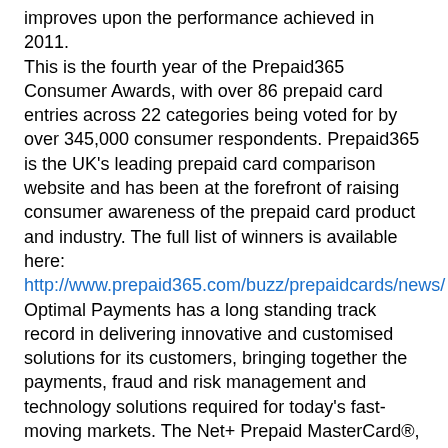improves upon the performance achieved in 2011. This is the fourth year of the Prepaid365 Consumer Awards, with over 86 prepaid card entries across 22 categories being voted for by over 345,000 consumer respondents. Prepaid365 is the UK's leading prepaid card comparison website and has been at the forefront of raising consumer awareness of the prepaid card product and industry. The full list of winners is available here:
http://www.prepaid365.com/buzz/prepaidcards/news/
Optimal Payments has a long standing track record in delivering innovative and customised solutions for its customers, bringing together the payments, fraud and risk management and technology solutions required for today's fast-moving markets. The Net+ Prepaid MasterCard®, linked to the NETELLER eWallet account, remains one of the leading prepaid cards available to consumers today in nearly 100 countries.
Danny Chazonoff, Chief Operating Officer at Optimal Payments, commented:
"We are delighted that the Net+ Prepaid MasterCard has been recognised – again – by consumers as the best